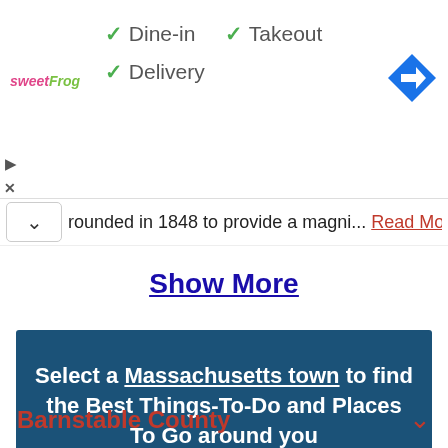[Figure (logo): sweetFrog logo in pink and green text]
✓ Dine-in   ✓ Takeout
✓ Delivery
[Figure (other): Blue diamond navigation arrow icon]
rounded in 1848 to provide a magni... Read More
Show More
Select a Massachusetts town to find the Best Things-To-Do and Places To Go around you
Barnstable County